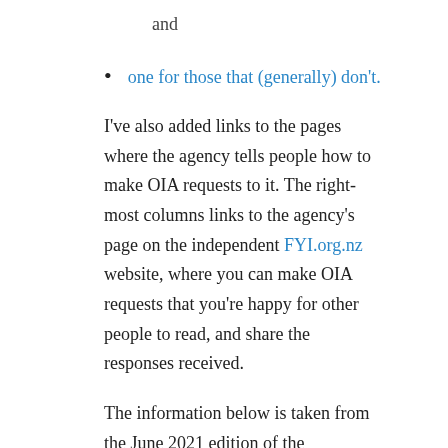and
one for those that (generally) don't.
I've also added links to the pages where the agency tells people how to make OIA requests to it. The right-most columns links to the agency's page on the independent FYI.org.nz website, where you can make OIA requests that you're happy for other people to read, and share the responses received.
The information below is taken from the June 2021 edition of the spreadsheet, and corrected where necessary. It is up to date, as of 4 March 2022. If you find any of the links are out of date or incorrect,